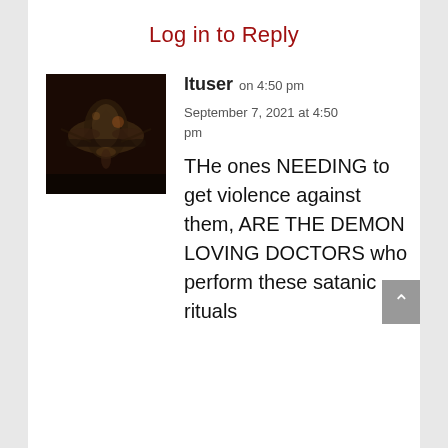Log in to Reply
[Figure (photo): Avatar image of a dark, blurry fighter jet or spacecraft against a dark reddish-brown background]
ltuser on 4:50 pm
September 7, 2021 at 4:50 pm
THe ones NEEDING to get violence against them, ARE THE DEMON LOVING DOCTORS who perform these satanic rituals